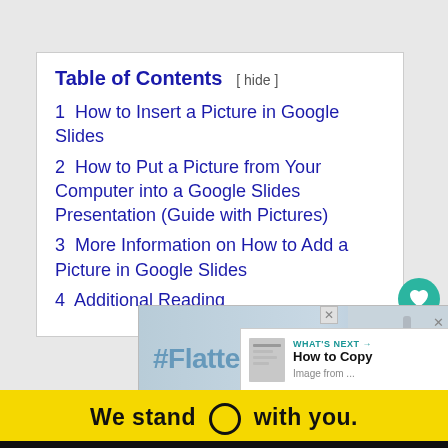Table of Contents  [ hide ]
1  How to Insert a Picture in Google Slides
2  How to Put a Picture from Your Computer into a Google Slides Presentation (Guide with Pictures)
3  More Information on How to Add a Picture in Google Slides
4  Additional Reading
[Figure (photo): #FlattenTheCurve advertisement banner showing handwashing image]
[Figure (infographic): What's Next panel: How to Copy image from...]
We stand O with you.